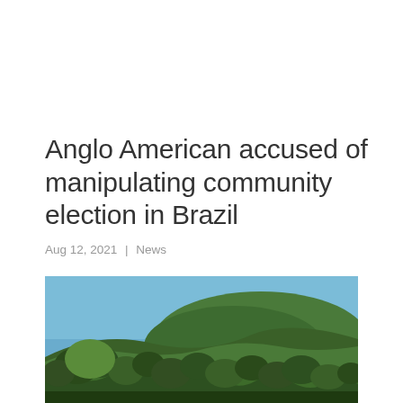Anglo American accused of manipulating community election in Brazil
Aug 12, 2021 | News
[Figure (photo): Landscape photo showing lush green trees and shrubs in the foreground with a hill covered in green vegetation in the background under a blue sky]